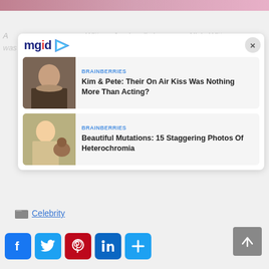[Figure (photo): Top strip of a photo showing pink/rose colored clothing or background]
Alicia Anne Witt, professionally known as Alicia Witt, was born on August 21, 1975, and her birthplace is
[Figure (screenshot): MGID ad widget showing logo and two article cards]
BRAINBERRIES
Kim & Pete: Their On Air Kiss Was Nothing More Than Acting?
BRAINBERRIES
Beautiful Mutations: 15 Staggering Photos Of Heterochromia
Celebrity
[Figure (other): Social share buttons: Facebook, Twitter, Pinterest, LinkedIn, More]